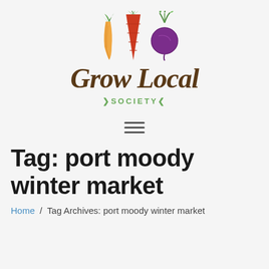[Figure (logo): Grow Local Society logo with illustrated vegetables (carrot, red carrot/cone, beet) hanging above cursive 'Grow Local' text and 'SOCIETY' in small caps with decorative arrows]
[Figure (other): Hamburger menu icon with three horizontal lines]
Tag: port moody winter market
Home / Tag Archives: port moody winter market